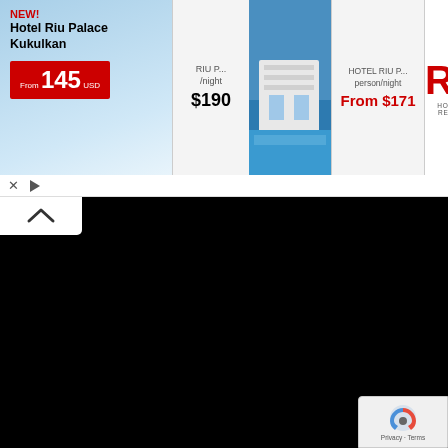[Figure (screenshot): RIU Hotels & Resorts advertisement banner showing Hotel Riu Palace Kukulkan with price From 145 USD, RIU P... /night $190, HOTEL RIU P... person/night From $171, and RIU Hotels & Resorts logo]
[Figure (screenshot): Black video player area with white chevron/arrow tab at top left]
falguni shah says:
📅 May 1, 2011 at 9:57 pm

Hi Hetal, Anujua,

I am from Gujarat, and still live there. I have been cooking...
[Figure (other): reCAPTCHA Privacy - Terms badge at bottom right]